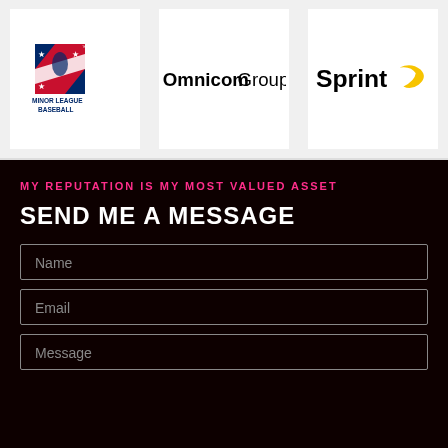[Figure (logo): Minor League Baseball logo - red, white and blue with stars and eagle/player silhouette, text MINOR LEAGUE BASEBALL below]
[Figure (logo): Omnicom Group logo - black text, OmnicomGroup]
[Figure (logo): Sprint logo - black text Sprint with yellow swoosh]
MY REPUTATION IS MY MOST VALUED ASSET
SEND ME A MESSAGE
Name
Email
Message